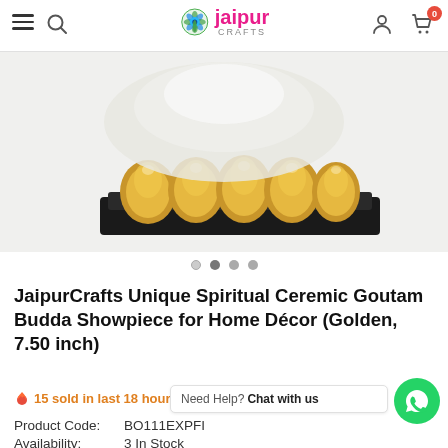jaipur CRAFTS — navigation header with hamburger, search, logo, user, cart (0)
[Figure (photo): Golden ceramic Goutam Budda showpiece on a dark base — close-up product photo showing golden spherical lotus-petal motifs on black platform, on white/light background]
JaipurCrafts Unique Spiritual Ceremic Goutam Budda Showpiece for Home Décor (Golden, 7.50 inch)
15 sold in last 18 hours
Need Help? Chat with us
Product Code:  BO111EXPFI
Availability:  3 In Stock